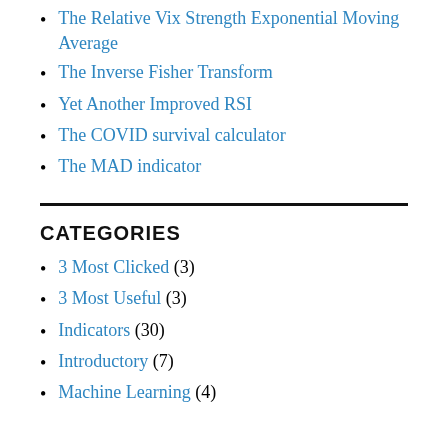The Relative Vix Strength Exponential Moving Average
The Inverse Fisher Transform
Yet Another Improved RSI
The COVID survival calculator
The MAD indicator
CATEGORIES
3 Most Clicked (3)
3 Most Useful (3)
Indicators (30)
Introductory (7)
Machine Learning (4)